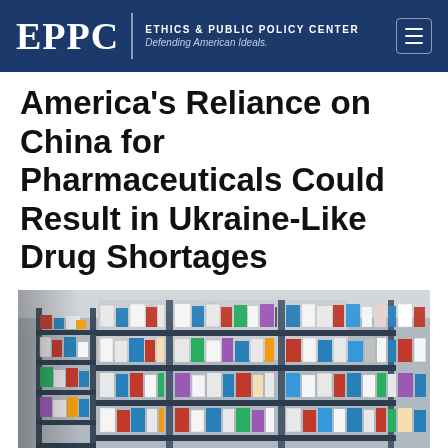EPPC | ETHICS & PUBLIC POLICY CENTER Defending American Ideals.
America's Reliance on China for Pharmaceuticals Could Result in Ukraine-Like Drug Shortages
[Figure (photo): Pharmacy shelves stocked with many boxes of medications and drug packages]